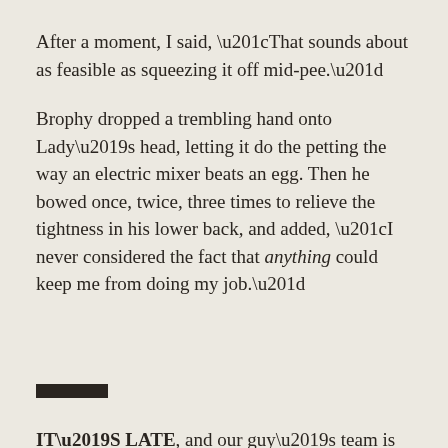After a moment, I said, “That sounds about as feasible as squeezing it off mid-pee.”
Brophy dropped a trembling hand onto Lady’s head, letting it do the petting the way an electric mixer beats an egg. Then he bowed once, twice, three times to relieve the tightness in his lower back, and added, “I never considered the fact that anything could keep me from doing my job.”
[Figure (other): A short thick dark horizontal rectangle used as a section divider or decorative rule.]
IT’S LATE, and our guy’s team is down a goal and looking flat. He’s on the bench with his elbow over the lip of the boards, effervescent with adrenaline.